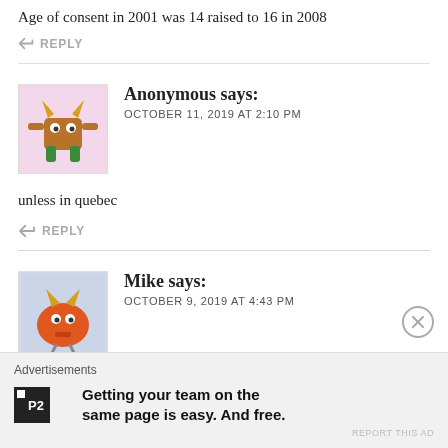Age of consent in 2001 was 14 raised to 16 in 2008
↩ REPLY
Anonymous says:
OCTOBER 11, 2019 AT 2:10 PM
unless in quebec
↩ REPLY
Mike says:
OCTOBER 9, 2019 AT 4:43 PM
Advertisements
Getting your team on the same page is easy. And free.